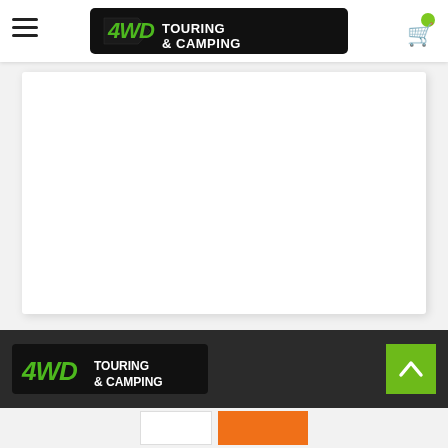[Figure (logo): 4WD Touring & Camping logo in top navigation bar, white text on black background]
[Figure (other): White content card area (blank/empty product or content panel)]
[Figure (logo): 4WD Touring & Camping logo in dark footer, white text on black background]
[Figure (other): Back to top button (green with up arrow caret) in footer]
[Figure (other): Bottom strip with white button and orange button]